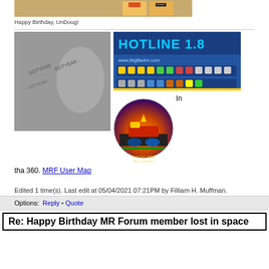[Figure (photo): Top portion of a photo showing birthday cards/envelopes on a brown/tan background]
Happy Birthday, UnDoug!
[Figure (photo): Black and white close-up photo of what appears to be toes or skin with text imprinted]
[Figure (photo): Hotline 1.8 software interface screenshot showing www.BigBadm.com with toolbar icons on blue background]
[Figure (photo): In-N-Out Urge circular logo/illustration with classic cars and diner at sunset, 'Race to the Place For Country Boy Car Folks' text]
In
tha 360. MRF User Map
Edited 1 time(s). Last edit at 05/04/2021 07:21PM by Filliam H. Muffman.
Options:  Reply • Quote
Re: Happy Birthday MR Forum member lost in space